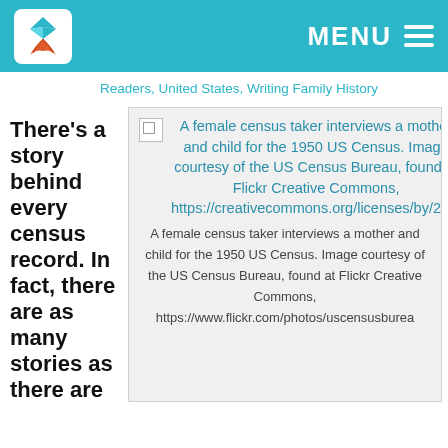MENU
Readers, United States, Writing Family History
There's a story behind every census record. In fact, there are as many stories as there are
[Figure (photo): A female census taker interviews a mother and child for the 1950 US Census. Image courtesy of the US Census Bureau, found at Flickr Creative Commons, https://creativecommons.org/licenses/by/2.0/.]
A female census taker interviews a mother and child for the 1950 US Census. Image courtesy of the US Census Bureau, found at Flickr Creative Commons, https://www.flickr.com/photos/uscensusburea